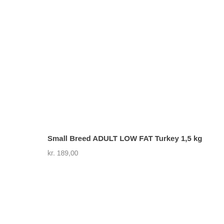Small Breed ADULT LOW FAT Turkey 1,5 kg
kr. 189,00